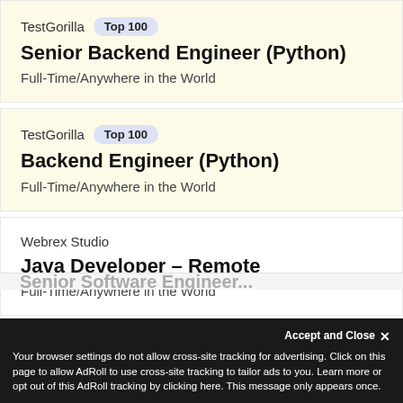TestGorilla Top 100 — Senior Backend Engineer (Python) — Full-Time/Anywhere in the World
TestGorilla Top 100 — Backend Engineer (Python) — Full-Time/Anywhere in the World
Webrex Studio — Java Developer – Remote — Full-Time/Anywhere in the World
Accept and Close ✕
Your browser settings do not allow cross-site tracking for advertising. Click on this page to allow AdRoll to use cross-site tracking to tailor ads to you. Learn more or opt out of this AdRoll tracking by clicking here. This message only appears once.